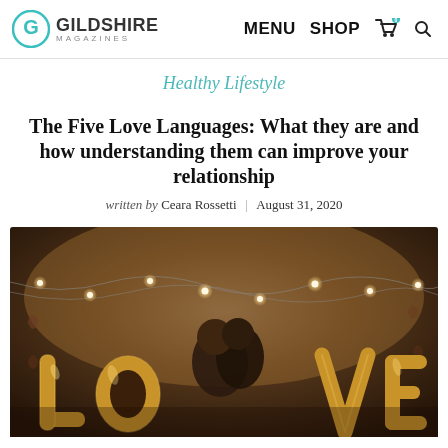GILDSHIRE MAGAZINES | MENU | SHOP
Healthy Lifestyle
The Five Love Languages: What they are and how understanding them can improve your relationship
written by Ceara Rossetti | August 31, 2020
[Figure (photo): A couple kissing behind large gold letter balloons spelling LOVE, with string lights and heart decorations in the background]